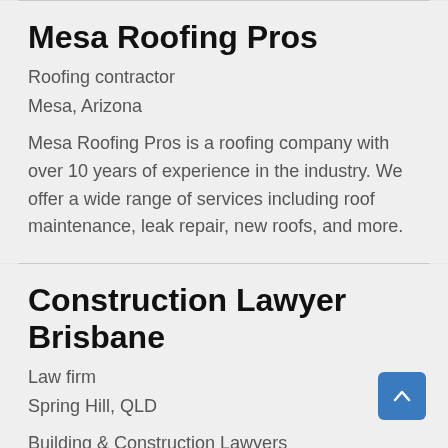Mesa Roofing Pros
Roofing contractor
Mesa, Arizona
Mesa Roofing Pros is a roofing company with over 10 years of experience in the industry. We offer a wide range of services including roof maintenance, leak repair, new roofs, and more.
Construction Lawyer Brisbane
Law firm
Spring Hill, QLD
Building & Construction Lawyers